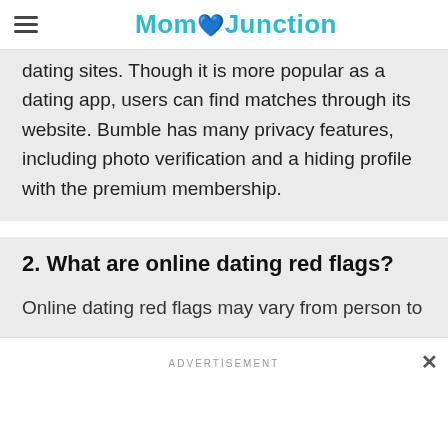MomJunction
dating sites. Though it is more popular as a dating app, users can find matches through its website. Bumble has many privacy features, including photo verification and a hiding profile with the premium membership.
2. What are online dating red flags?
Online dating red flags may vary from person to
ADVERTISEMENT